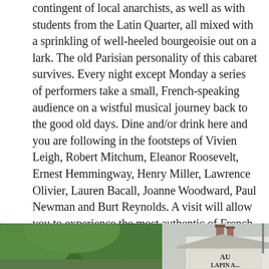contingent of local anarchists, as well as with students from the Latin Quarter, all mixed with a sprinkling of well-heeled bourgeoisie out on a lark. The old Parisian personality of this cabaret survives. Every night except Monday a series of performers take a small, French-speaking audience on a wistful musical journey back to the good old days. Dine and/or drink here and you are following in the footsteps of Vivien Leigh, Robert Mitchum, Eleanor Roosevelt, Ernest Hemmingway, Henry Miller, Lawrence Olivier, Lauren Bacall, Joanne Woodward, Paul Newman and Burt Reynolds. A visit will allow you to experience the most authentic of French singing, whilst seated at the simple old tables and chairs that have been there for decades. You can see where patrons have carved their names in to the old wood as you wonder which characters may have been on this same chair in the past!
[Figure (photo): Bottom portion of a photo showing a large green tree on the left side and a building with chimneys and a sign reading 'AU LAPIN A...' on the right side, against an overcast sky.]